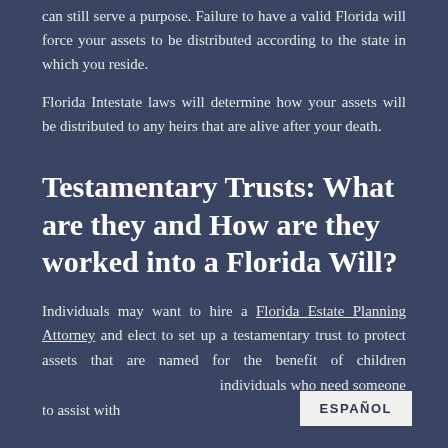can still serve a purpose. Failure to have a valid Florida will force your assets to be distributed according to the state in which you reside.
Florida Intestate laws will determine how your assets will be distributed to any heirs that are alive after your death.
Testamentary Trusts: What are they and How are they worked into a Florida Will?
Individuals may want to hire a Florida Estate Planning Attorney and elect to set up a testamentary trust to protect assets that are named for the benefit of children individuals who need someone to assist with